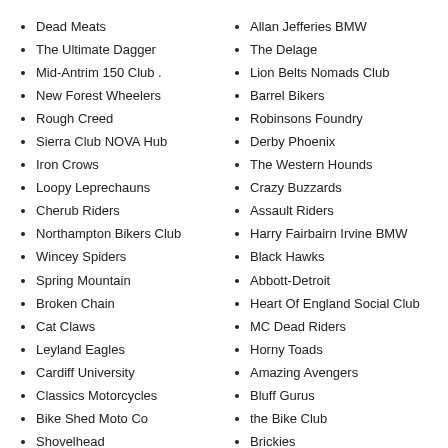Dead Meats
The Ultimate Dagger
Mid-Antrim 150 Club .
New Forest Wheelers
Rough Creed
Sierra Club NOVA Hub
Iron Crows
Loopy Leprechauns
Cherub Riders
Northampton Bikers Club
Wincey Spiders
Spring Mountain
Broken Chain
Cat Claws
Leyland Eagles
Cardiff University
Classics Motorcycles
Bike Shed Moto Co
Shovelhead
Frontier Harley-Davidson
Allan Jefferies BMW
The Delage
Lion Belts Nomads Club
Barrel Bikers
Robinsons Foundry
Derby Phoenix
The Western Hounds
Crazy Buzzards
Assault Riders
Harry Fairbairn Irvine BMW
Black Hawks
Abbott-Detroit
Heart Of England Social Club
MC Dead Riders
Horny Toads
Amazing Avengers
Bluff Gurus
the Bike Club
Brickies
Freedom Riders